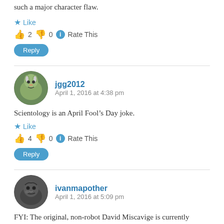such a major character flaw.
★ Like
👍 2 👎 0 ℹ Rate This
Reply
jgg2012
April 1, 2016 at 4:38 pm
Scientology is an April Fool's Day joke.
★ Like
👍 4 👎 0 ℹ Rate This
Reply
ivanmapother
April 1, 2016 at 5:09 pm
FYI: The original, non-robot David Miscavige is currently